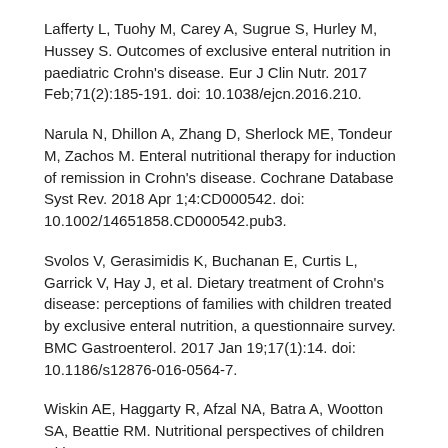Lafferty L, Tuohy M, Carey A, Sugrue S, Hurley M, Hussey S. Outcomes of exclusive enteral nutrition in paediatric Crohn's disease. Eur J Clin Nutr. 2017 Feb;71(2):185-191. doi: 10.1038/ejcn.2016.210.
Narula N, Dhillon A, Zhang D, Sherlock ME, Tondeur M, Zachos M. Enteral nutritional therapy for induction of remission in Crohn's disease. Cochrane Database Syst Rev. 2018 Apr 1;4:CD000542. doi: 10.1002/14651858.CD000542.pub3.
Svolos V, Gerasimidis K, Buchanan E, Curtis L, Garrick V, Hay J, et al. Dietary treatment of Crohn's disease: perceptions of families with children treated by exclusive enteral nutrition, a questionnaire survey. BMC Gastroenterol. 2017 Jan 19;17(1):14. doi: 10.1186/s12876-016-0564-7.
Wiskin AE, Haggarty R, Afzal NA, Batra A, Wootton SA, Beattie RM. Nutritional perspectives of children with